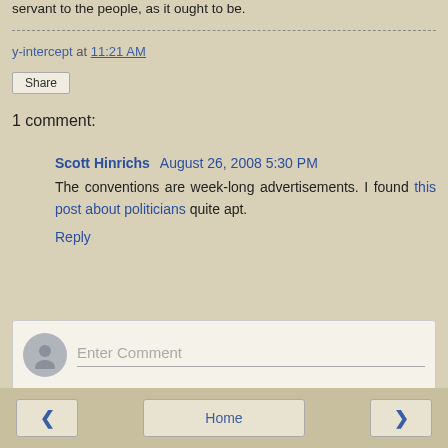servant to the people, as it ought to be.
y-intercept at 11:21 AM
Share
1 comment:
Scott Hinrichs August 26, 2008 5:30 PM
The conventions are week-long advertisements. I found this post about politicians quite apt.
Reply
Enter Comment
< Home >